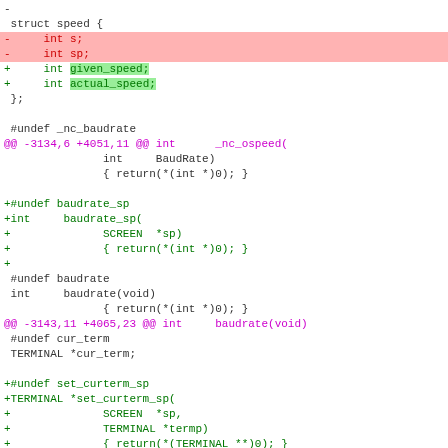- 
 struct speed {
-     int s;
-     int sp;
+     int given_speed;
+     int actual_speed;
 };

 #undef _nc_baudrate
@@ -3134,6 +4051,11 @@ int      _nc_ospeed(
               int     BaudRate)
               { return(*(int *)0); }

+#undef baudrate_sp
+int     baudrate_sp(
+              SCREEN  *sp)
+              { return(*(int *)0); }
+
 #undef baudrate
 int     baudrate(void)
               { return(*(int *)0); }
@@ -3143,11 +4065,23 @@ int     baudrate(void)
 #undef cur_term
 TERMINAL *cur_term;

+#undef set_curterm_sp
+TERMINAL *set_curterm_sp(
+              SCREEN  *sp,
+              TERMINAL *termp)
+              { return(*(TERMINAL **)0); }
+
 #undef set curterm